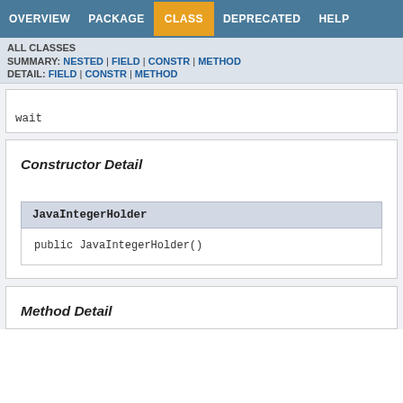OVERVIEW  PACKAGE  CLASS  DEPRECATED  HELP
ALL CLASSES
SUMMARY: NESTED | FIELD | CONSTR | METHOD
DETAIL: FIELD | CONSTR | METHOD
wait
Constructor Detail
JavaIntegerHolder
public JavaIntegerHolder()
Method Detail